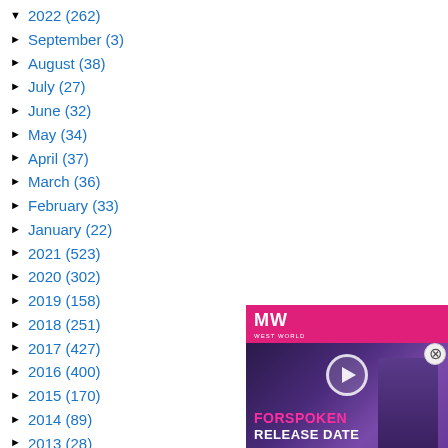▼ 2022 (262)
► September (3)
► August (38)
► July (27)
► June (32)
► May (34)
► April (37)
► March (36)
► February (33)
► January (22)
► 2021 (523)
► 2020 (302)
► 2019 (158)
► 2018 (251)
► 2017 (427)
► 2016 (400)
► 2015 (170)
► 2014 (89)
► 2013 (28)
► 2012 (8)
► 2011 (7)
► 2010 (6)
[Figure (screenshot): Advertisement for Forspoken game with MW logo, play button, and text FORSPOKEN RELEASE DATE on dark background]